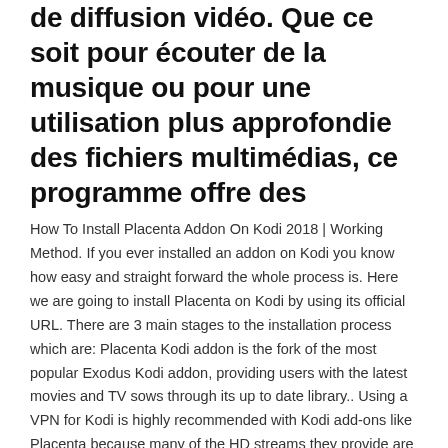de diffusion vidéo. Que ce soit pour écouter de la musique ou pour une utilisation plus approfondie des fichiers multimédias, ce programme offre des
How To Install Placenta Addon On Kodi 2018 | Working Method. If you ever installed an addon on Kodi you know how easy and straight forward the whole process is. Here we are going to install Placenta on Kodi by using its official URL. There are 3 main stages to the installation process which are: Placenta Kodi addon is the fork of the most popular Exodus Kodi addon, providing users with the latest movies and TV sows through its up to date library.. Using a VPN for Kodi is highly recommended with Kodi add-ons like Placenta because many of the HD streams they provide are geo-restricted and pirated too. Stream Movies, TV Shows, & Live TV on Kodi without interruption with these 120+ best Kodi addons for 2020